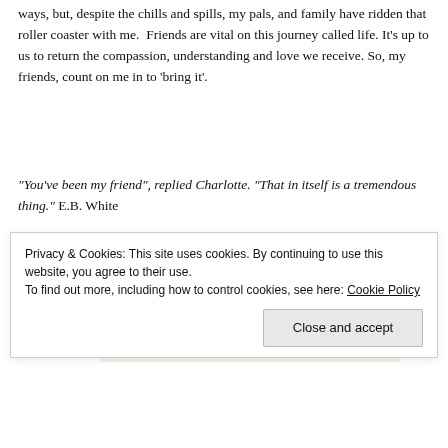ways, but, despite the chills and spills, my pals, and family have ridden that roller coaster with me.  Friends are vital on this journey called life. It's up to us to return the compassion, understanding and love we receive. So, my friends, count on me in to 'bring it'.
“You’ve been my friend”, replied Charlotte. “That in itself is a tremendous thing.” E.B. White
Advertisements
[Figure (other): Advertisement box with beige background showing the word 'Professionally' in large bold serif font]
Privacy & Cookies: This site uses cookies. By continuing to use this website, you agree to their use.
To find out more, including how to control cookies, see here: Cookie Policy
Close and accept